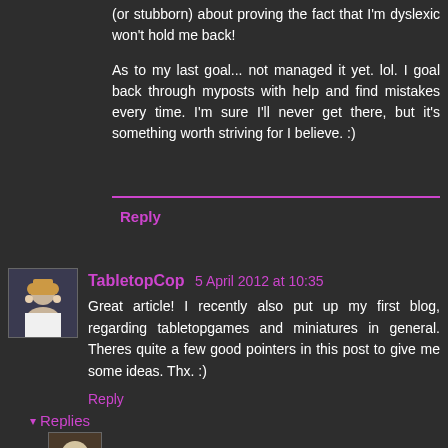(or stubborn) about proving the fact that I'm dyslexic won't hold me back!
As to my last goal... not managed it yet. lol. I goal back through myposts with help and find mistakes every time. I'm sure I'll never get there, but it's something worth striving for I believe. :)
Reply
TabletopCop 5 April 2012 at 10:35
Great article! I recently also put up my first blog, regarding tabletopgames and miniatures in general. Theres quite a few good pointers in this post to give me some ideas. Thx. :)
Reply
Replies
Frontline Gamer 5 April 2012 at 14:38